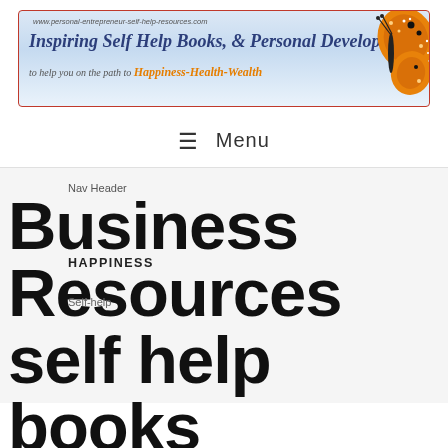[Figure (illustration): Website banner for personal-entrepreneur-self-help-resources.com showing 'Inspiring Self Help Books, & Personal Development to help you on the path to Happiness-Health-Wealth' with a monarch butterfly graphic on the right]
≡ Menu
Nav Header
Business Resources self help books Business Credit Card
HAPPINESS
Self-help